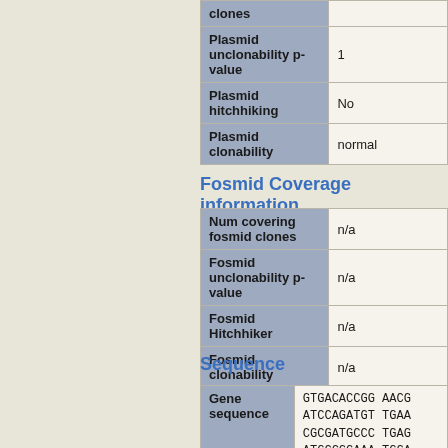| Field | Value |
| --- | --- |
| clones |  |
| Plasmid unclonability p-value | 1 |
| Plasmid hitchhiking | No |
| Plasmid clonability | normal |
Fosmid Coverage information
| Field | Value |
| --- | --- |
| Num covering fosmid clones | n/a |
| Fosmid unclonability p-value | n/a |
| Fosmid Hitchhiker | n/a |
| Fosmid clonability | n/a |
Sequence
| Gene sequence |  |
| --- | --- |
| Gene sequence | GTGACACCGG  AACG
ATCCAGATGT  TGAA
CGCGATGCCC  TGAG
ATGCCGGAAA  TGGA
GATGTACCGA  TCAT
GAGCTCGGTG  CGGT
ATTCGCAACC  AGAT |